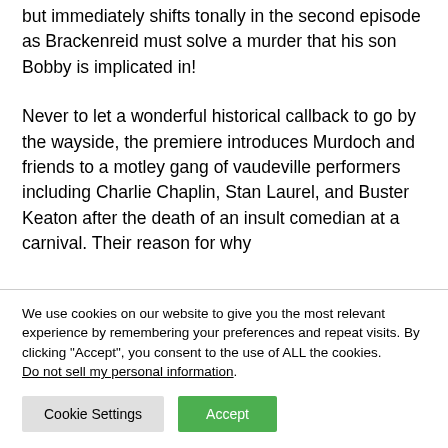but immediately shifts tonally in the second episode as Brackenreid must solve a murder that his son Bobby is implicated in!
Never to let a wonderful historical callback to go by the wayside, the premiere introduces Murdoch and friends to a motley gang of vaudeville performers including Charlie Chaplin, Stan Laurel, and Buster Keaton after the death of an insult comedian at a carnival. Their reason for why
We use cookies on our website to give you the most relevant experience by remembering your preferences and repeat visits. By clicking “Accept”, you consent to the use of ALL the cookies. Do not sell my personal information.